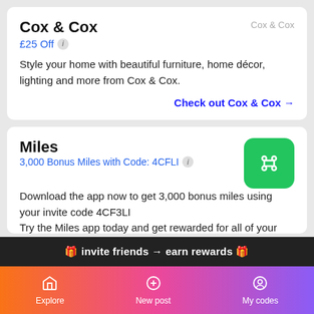Cox & Cox
£25 Off
Style your home with beautiful furniture, home décor, lighting and more from Cox & Cox.
Check out Cox & Cox →
Miles
3,000 Bonus Miles with Code: 4CFLI
Download the app now to get 3,000 bonus miles using your invite code 4CF3LI
Try the Miles app today and get rewarded for all of your
🎁 invite friends → earn rewards 🎁
Explore  New post  My codes